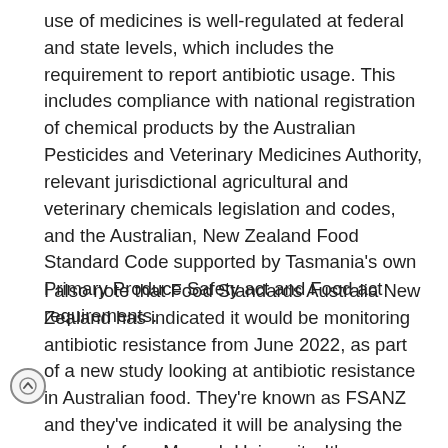use of medicines is well-regulated at federal and state levels, which includes the requirement to report antibiotic usage. This includes compliance with national registration of chemical products by the Australian Pesticides and Veterinary Medicines Authority, relevant jurisdictional agricultural and veterinary chemicals legislation and codes, and the Australian, New Zealand Food Standard Code supported by Tasmania's own Primary Produce Safety act and Food act requirements.
I also note that Food Standards Australia New Zealand has indicated it would be monitoring antibiotic resistance from June 2022, as part of a new study looking at antibiotic resistance in Australian food. They're known as FSANZ and they've indicated it will be analysing the research from Monash University. It's important to ensure that a fact-based scientific and risk-based approach is adopted to ensure that there are appropriate regulatory controls relating to antimicrobial resistance. In